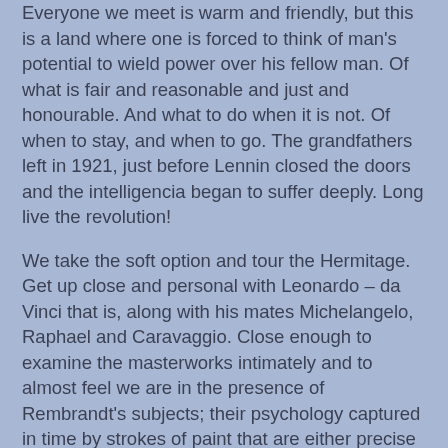Everyone we meet is warm and friendly, but this is a land where one is forced to think of man's potential to wield power over his fellow man. Of what is fair and reasonable and just and honourable. And what to do when it is not. Of when to stay, and when to go. The grandfathers left in 1921, just before Lennin closed the doors and the intelligencia began to suffer deeply. Long live the revolution!
We take the soft option and tour the Hermitage. Get up close and personal with Leonardo – da Vinci that is, along with his mates Michelangelo, Raphael and Caravaggio. Close enough to examine the masterworks intimately and to almost feel we are in the presence of Rembrandt's subjects; their psychology captured in time by strokes of paint that are either precise or imprecise as the occasion demands. Awe inspiring craftsmanship. Such a privilege to see it all so close.
On another day we enter the Cathedral of St Isaac, adorned with mosaics so fine they appear to be paintings. We move past the array of icons tiered on high, enter a vestry, and join with a Russian Orthodox service where the chanting reaches